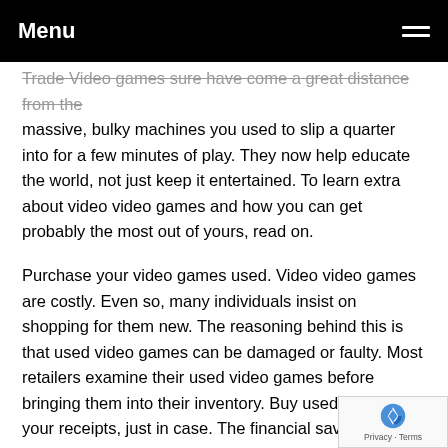Menu
Trade Video games sure have come a great distance from the massive, bulky machines you used to slip a quarter into for a few minutes of play. They now help educate the world, not just keep it entertained. To learn extra about video video games and how you can get probably the most out of yours, read on.
Purchase your video games used. Video video games are costly. Even so, many individuals insist on shopping for them new. The reasoning behind this is that used video games can be damaged or faulty. Most retailers examine their used video games before bringing them into their inventory. Buy used and save your receipts, just in case. The financial savings is nicely well worth the minor threat.
To improve your performance, turn down the music. Wh…